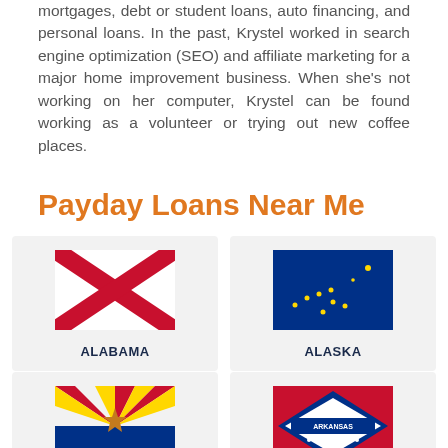mortgages, debt or student loans, auto financing, and personal loans. In the past, Krystel worked in search engine optimization (SEO) and affiliate marketing for a major home improvement business. When she's not working on her computer, Krystel can be found working as a volunteer or trying out new coffee places.
Payday Loans Near Me
[Figure (illustration): Alabama state flag — red X (St. Andrew's cross) on white background]
ALABAMA
[Figure (illustration): Alaska state flag — gold stars (Big Dipper and North Star) on dark navy blue background]
ALASKA
[Figure (illustration): Arizona state flag — red and yellow rays on top half, blue bottom half, copper star in center]
ARIZONA
[Figure (illustration): Arkansas state flag — red with blue diamond border containing white stars and 'ARKANSAS' text]
ARKANSAS